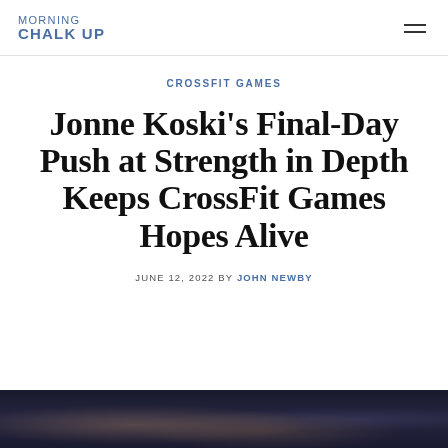MORNING CHALK UP
CROSSFIT GAMES
Jonne Koski's Final-Day Push at Strength in Depth Keeps CrossFit Games Hopes Alive
JUNE 12, 2022 BY JOHN NEWBY
[Figure (photo): Bottom strip showing a partial photograph of a CrossFit competition event, dark background with athlete visible]